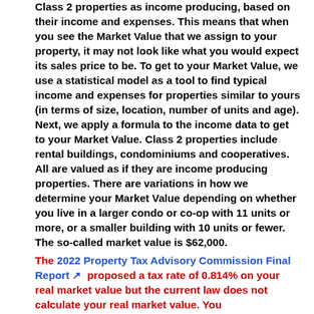Class 2 properties as income producing, based on their income and expenses. This means that when you see the Market Value that we assign to your property, it may not look like what you would expect its sales price to be. To get to your Market Value, we use a statistical model as a tool to find typical income and expenses for properties similar to yours (in terms of size, location, number of units and age). Next, we apply a formula to the income data to get to your Market Value. Class 2 properties include rental buildings, condominiums and cooperatives. All are valued as if they are income producing properties. There are variations in how we determine your Market Value depending on whether you live in a larger condo or co-op with 11 units or more, or a smaller building with 10 units or fewer. The so-called market value is $62,000.
The 2022 Property Tax Advisory Commission Final Report proposed a tax rate of 0.814% on your real market value but the current law does not calculate your real market value. You